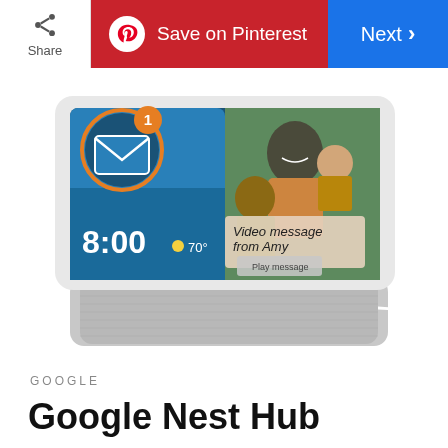Share | Save on Pinterest | Next
[Figure (photo): Google Nest Hub smart display device showing a video message notification from Amy on screen, with a clock showing 8:00 and 70 degrees. An email/message icon with a badge of 1 is visible on the left side of the screen. The device has a white bezel and a gray fabric speaker base.]
GOOGLE
Google Nest Hub